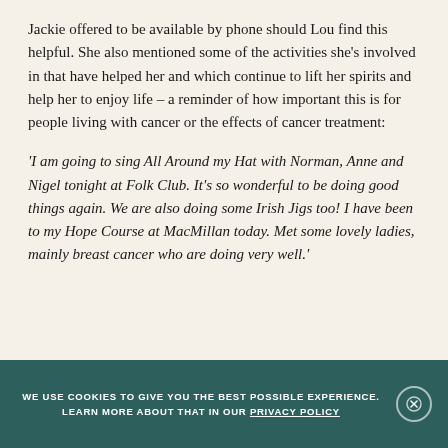Jackie offered to be available by phone should Lou find this helpful. She also mentioned some of the activities she's involved in that have helped her and which continue to lift her spirits and help her to enjoy life – a reminder of how important this is for people living with cancer or the effects of cancer treatment:
'I am going to sing All Around my Hat with Norman, Anne and Nigel tonight at Folk Club. It's so wonderful to be doing good things again. We are also doing some Irish Jigs too! I have been to my Hope Course at MacMillan today. Met some lovely ladies, mainly breast cancer who are doing very well.'
WE USE COOKIES TO GIVE YOU THE BEST POSSIBLE EXPERIENCE. LEARN MORE ABOUT THAT IN OUR PRIVACY POLICY